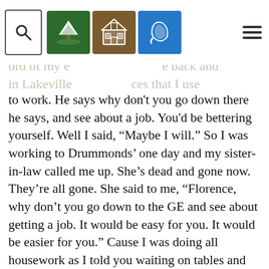[Navigation bar with search icon, tree/landscape icon, schoolhouse icon, bell icon, and hamburger menu]
ord of my e... ...e back and ...in Lakeville... ...ces that I use to work. He says why don't you go down there he says, and see about a job. You'd be bettering yourself. Well I said, “Maybe I will.” So I was working to Drummonds’ one day and my sister-in-law called me up. She’s dead and gone now. They’re all gone. She said to me, “Florence, why don’t you go down to the GE and see about getting a job. It would be easy for you. It would be easier for you.” Cause I was doing all housework as I told you waiting on tables and all that stuff you know. I said, “Well, I don’t know. Albert’s been telling me that.” That’s my husband, Albert. He’s been telling me that, “Florence, why don’t you do it?” I said, “Well, I am.” So one day I took off. I called them where I was supposed to go to work and said I had a little business to take care of. So I went right down to the GE and I worked